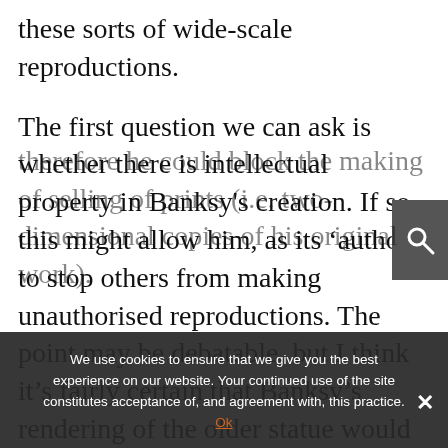these sorts of wide-scale reproductions.
The first question we can ask is whether there is intellectual property in Banksy's creation. If so, this might allow him, as its ‘author’, to stop others from making unauthorised reproductions. The point may be debatable, but I think it’s fairly certain that Banksy’s rendering of the older statue would qualify as a ‘sculpture’ for the purposes of copyright law.
therefore he could block the making of selling of prints (i.e. two-dimensional copies of his original work).
We use cookies to ensure that we give you the best experience on our website. Your continued use of the site constitutes acceptance of, and agreement with, this practice.